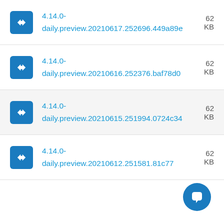4.14.0-daily.preview.20210617.252696.449a89e  62 KB
4.14.0-daily.preview.20210616.252376.baf78d0  62 KB
4.14.0-daily.preview.20210615.251994.0724c34  62 KB
4.14.0-daily.preview.20210612.251581.81c77...  62 KB